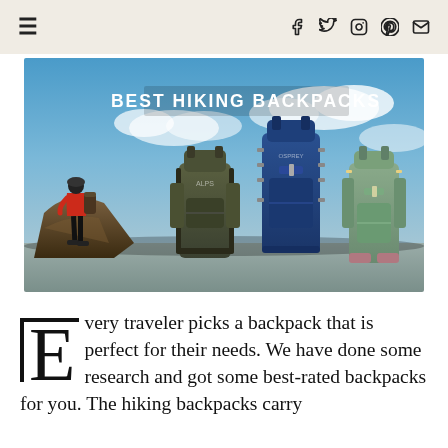☰  f  🐦  📷   pinterest  ✉
[Figure (photo): Hero banner image showing a hiker in red jacket standing on a rock with three hiking backpacks displayed (olive green, navy blue, sage green) against a blue sky. Bold white text overlay reads BEST HIKING BACKPACKS.]
Every traveler picks a backpack that is perfect for their needs. We have done some research and got some best-rated backpacks for you. The hiking backpacks carry